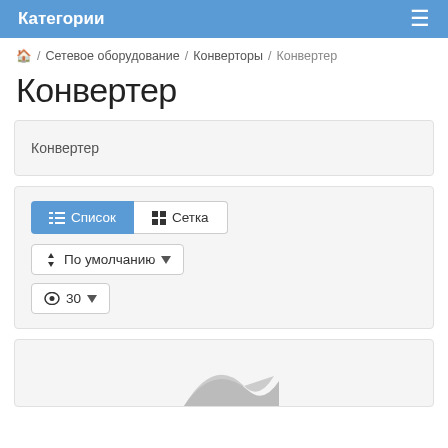Категории
🏠 / Сетевое оборудование / Конверторы / Конвертер
Конвертер
Конвертер
Список  Сетка
По умолчанию
30
[Figure (illustration): Partial view of a product image showing a white/grey curved shape at the bottom of the page]